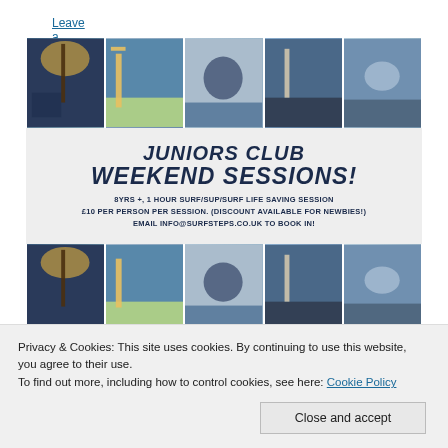Leave a reply
[Figure (photo): Promotional image for Surf Steps Juniors Club Weekend Sessions, showing a collage of surfing photos with a central text banner reading: JUNIORS CLUB WEEKEND SESSIONS! 8YRS +, 1 HOUR SURF/SUP/SURF LIFE SAVING SESSION. £10 PER PERSON PER SESSION. (DISCOUNT AVAILABLE FOR NEWBIES!) EMAIL INFO@SURFSTEPS.CO.UK TO BOOK IN!]
Privacy & Cookies: This site uses cookies. By continuing to use this website, you agree to their use.
To find out more, including how to control cookies, see here: Cookie Policy
Close and accept